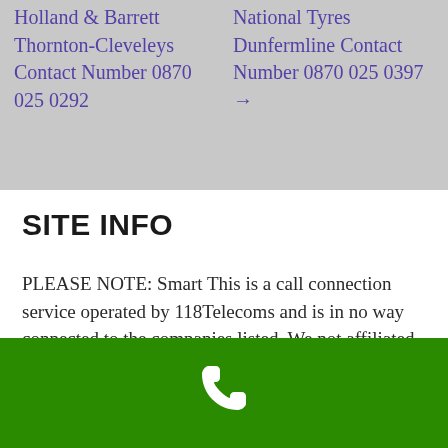Holland & Barrett Thornton-Cleveleys Contact Number 0870 025 0292
National Tyres Dunfermline Contact Number 0870 025 0397 →
SITE INFO
PLEASE NOTE: Smart This is a call connection service operated by 118Telecoms and is in no way connected to the companies listed. We not affiliated with any of the businesses listed inside, we forward all calls to the official phone numbers for the companies listed. You Can Contact Each Company DIRECT for a FREE or low cost phone number, please use the links provided. 118Telecoms. Service provider
[Figure (illustration): Green footer bar with white telephone handset icon]